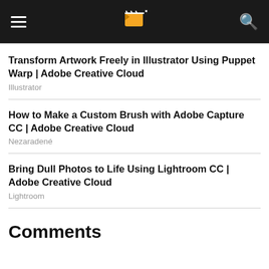Navigation header with hamburger menu, logo, and search icon
Transform Artwork Freely in Illustrator Using Puppet Warp | Adobe Creative Cloud
Illustrator
How to Make a Custom Brush with Adobe Capture CC | Adobe Creative Cloud
Nezaradené
Bring Dull Photos to Life Using Lightroom CC | Adobe Creative Cloud
Lightroom
Comments